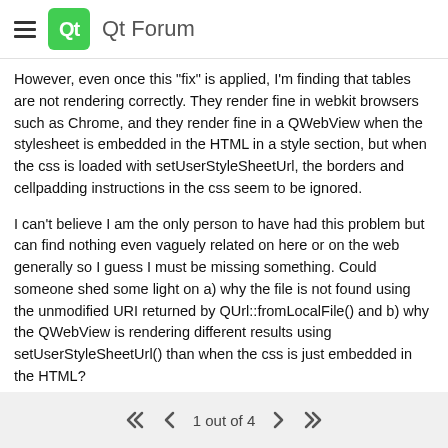Qt Forum
However, even once this "fix" is applied, I'm finding that tables are not rendering correctly. They render fine in webkit browsers such as Chrome, and they render fine in a QWebView when the stylesheet is embedded in the HTML in a style section, but when the css is loaded with setUserStyleSheetUrl, the borders and cellpadding instructions in the css seem to be ignored.
I can't believe I am the only person to have had this problem but can find nothing even vaguely related on here or on the web generally so I guess I must be missing something. Could someone shed some light on a) why the file is not found using the unmodified URI returned by QUrl::fromLocalFile() and b) why the QWebView is rendering different results using setUserStyleSheetUrl() than when the css is just embedded in the HTML?
Thanks in advance.
1 out of 4